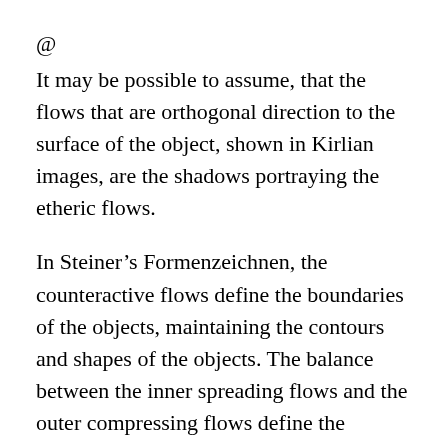@
It may be possible to assume, that the flows that are orthogonal direction to the surface of the object, shown in Kirlian images, are the shadows portraying the etheric flows.
In Steiner’s Formenzeichnen, the counteractive flows define the boundaries of the objects, maintaining the contours and shapes of the objects. The balance between the inner spreading flows and the outer compressing flows define the contours.
So it may be possible to say, that hoarfrosts grew along the flow which were orthogonal to the contours of the side mirror, which resulted